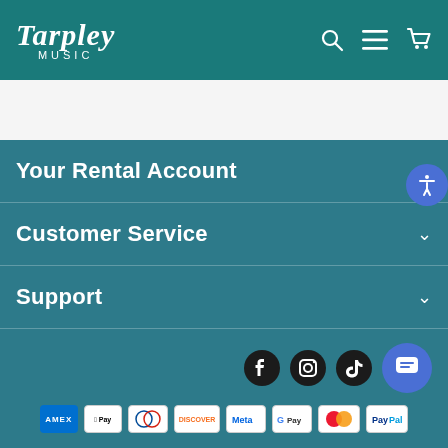Tarpley MUSIC
Your Rental Account
Customer Service
Support
[Figure (logo): Social media icons: Facebook, Instagram, TikTok, and a chat button]
[Figure (other): Payment method logos: AMEX, Apple Pay, Diners Club, Discover, Meta Pay, Google Pay, Mastercard, PayPal]